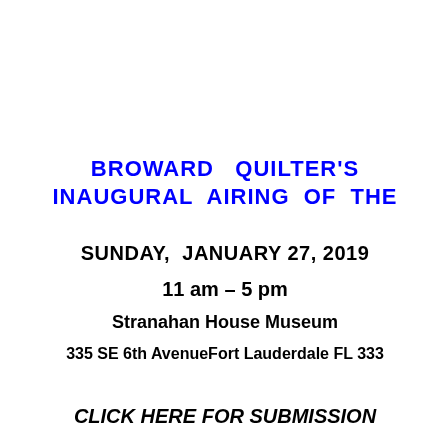BROWARD QUILTER'S INAUGURAL AIRING OF THE
SUNDAY, JANUARY 27, 2019
11 am – 5 pm
Stranahan House Museum
335 SE 6th AvenueFort Lauderdale FL 333
CLICK HERE FOR SUBMISSION